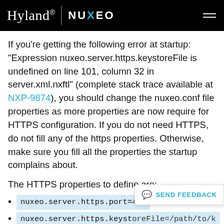Hyland | NUXEO
If you're getting the following error at startup: "Expression nuxeo.server.https.keystoreFile is undefined on line 101, column 32 in server.xml.nxftl" (complete stack trace available at NXP-9874), you should change the nuxeo.conf file properties as more properties are now require for HTTPS configuration. If you do not need HTTPS, do not fill any of the https properties. Otherwise, make sure you fill all the properties the startup complains about.
The HTTPS properties to define are:
nuxeo.server.https.port=443
nuxeo.server.https.keystoreFile=/path/to/keystore
nuxeo.server.https.keystorePass=password